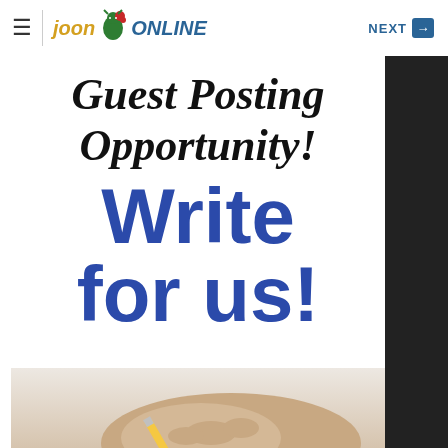≡ | JOON ONLINE   NEXT →
[Figure (illustration): Guest Posting Opportunity - Write for us! promotional image with handwritten-style script for 'Guest Posting Opportunity!' and bold blue text 'Write for us!' over a white background with a hand holding a pencil at the bottom.]